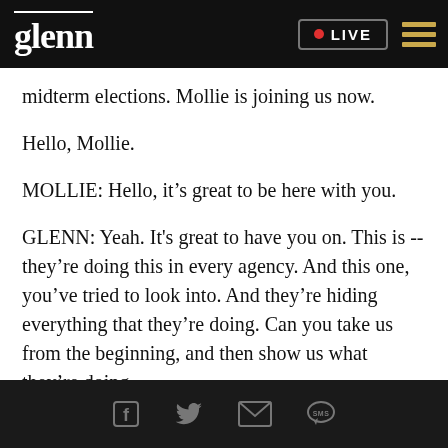glenn • LIVE
midterm elections. Mollie is joining us now.
Hello, Mollie.
MOLLIE: Hello, it's great to be here with you.
GLENN: Yeah. It's great to have you on. This is -- they're doing this in every agency. And this one, you've tried to look into. And they're hiding everything that they're doing. Can you take us from the beginning, and then show us what they're doing.
Social share icons: Facebook, Twitter, Email, SMS